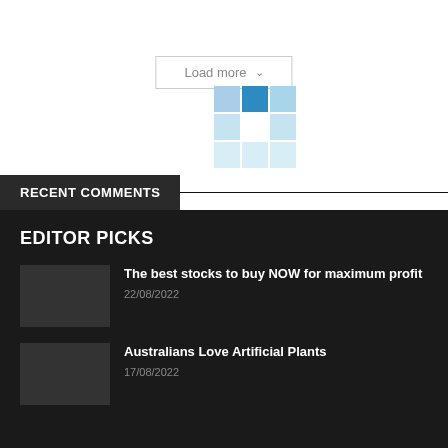[Figure (screenshot): Load more button with dropdown arrow and a blue grid/loading icon below it]
RECENT COMMENTS
EDITOR PICKS
The best stocks to buy NOW for maximum profit
22/08/2022
Australians Love Artificial Plants
17/08/2022